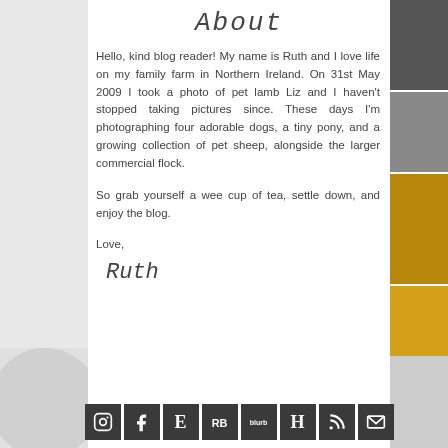About
Hello, kind blog reader! My name is Ruth and I love life on my family farm in Northern Ireland. On 31st May 2009 I took a photo of pet lamb Liz and I haven't stopped taking pictures since. These days I'm photographing four adorable dogs, a tiny pony, and a growing collection of pet sheep, alongside the larger commercial flock.
So grab yourself a wee cup of tea, settle down, and enjoy the blog.
Love,
Ruth
[Figure (other): Row of 8 dark social media icon buttons: Instagram, Facebook, Etsy, Redbubble, Blurb, Hometalk, RSS feed, Email]